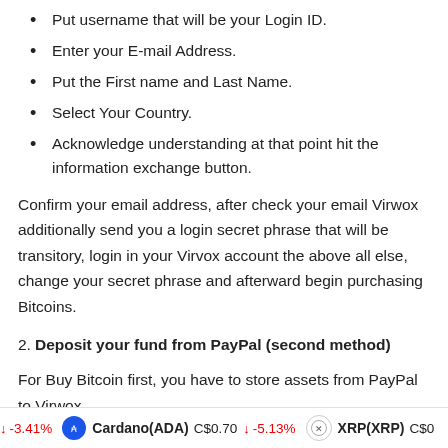Put username that will be your Login ID.
Enter your E-mail Address.
Put the First name and Last Name.
Select Your Country.
Acknowledge understanding at that point hit the information exchange button.
Confirm your email address, after check your email Virwox additionally send you a login secret phrase that will be transitory, login in your Virvox account the above all else, change your secret phrase and afterward begin purchasing Bitcoins.
2. Deposit your fund from PayPal (second method)
For Buy Bitcoin first, you have to store assets from PayPal to Virwox.
↓ -3.41%   Cardano(ADA)  C$0.70  ↓ -5.13%   XRP(XRP)  C$0...